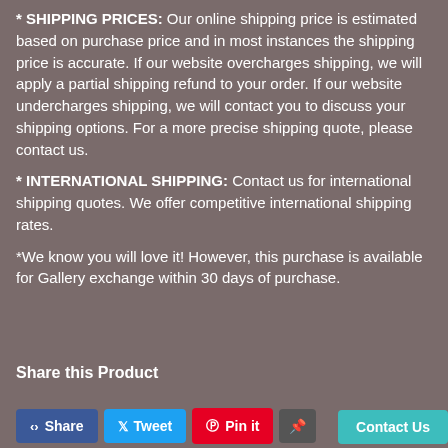* SHIPPING PRICES: Our online shipping price is estimated based on purchase price and in most instances the shipping price is accurate.  If our website overcharges shipping, we will apply a partial shipping refund to your order.  If our website undercharges shipping, we will contact you to discuss your shipping options.  For a more precise shipping quote, please contact us.
* INTERNATIONAL SHIPPING: Contact us for international shipping quotes.  We offer competitive international shipping rates.
*We know you will love it!  However, this purchase is available for Gallery exchange within 30 days of purchase.
Share this Product
Share | Tweet | Pin it | Contact Us